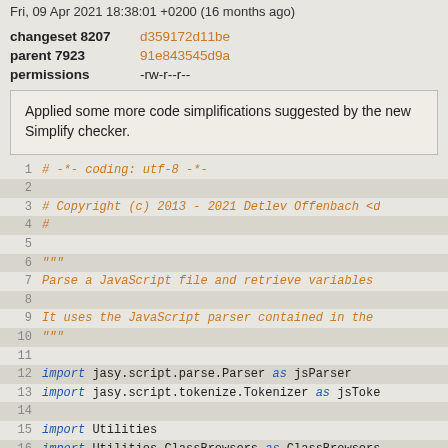Fri, 09 Apr 2021 18:38:01 +0200 (16 months ago)
| changeset 8207 | d359172d11be |
| parent 7923 | 91e843545d9a |
| permissions | -rw-r--r-- |
Applied some more code simplifications suggested by the new Simplify checker.
[Figure (screenshot): Source code viewer showing lines 1-17 of a Python file with syntax highlighting. Orange italic monospace code with blue keywords.]